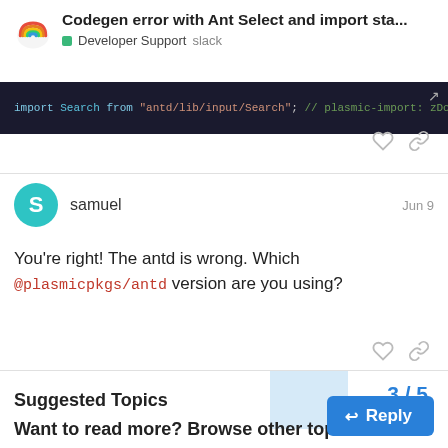Codegen error with Ant Select and import sta...
Developer Support  slack
[Figure (screenshot): Dark code editor screenshot showing: import Search from "antd/lib/input/Search"; // plasmic-import: zDcn8vsMIdu/codeComponent]
samuel  Jun 9
You’re right! The antd is wrong. Which @plasmicpkgs/antd version are you using?
3 / 5
Suggested Topics
Want to read more? Browse other topics in